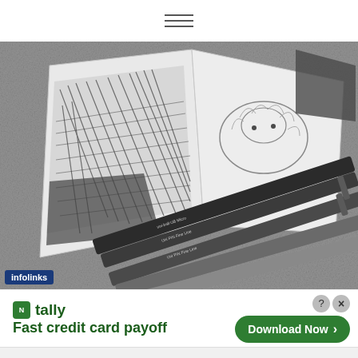≡
[Figure (photo): Black and white photo of an open sketchbook showing pencil drawings — left page has textured hatching patterns, right page has a sketch of an animal (possibly a bird or guinea pig). Several dark fine-liner pens (Uni PIN Fine Line) are laid across the sketchbook on a fluffy carpet.]
[Figure (infographic): Infolinks advertisement bar: tally app logo with 'Fast credit card payoff' text on the left, 'Download Now' green rounded button with arrow on the right, close/question buttons in top-right corner.]